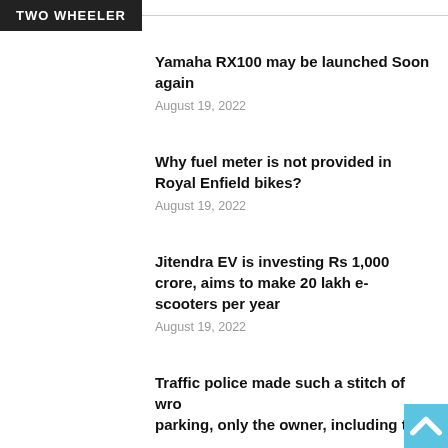TWO WHEELER
Yamaha RX100 may be launched Soon again
August 19, 2022
Why fuel meter is not provided in Royal Enfield bikes?
August 19, 2022
Jitendra EV is investing Rs 1,000 crore, aims to make 20 lakh e-scooters per year
August 19, 2022
Traffic police made such a stitch of wrong parking, only the owner, including the